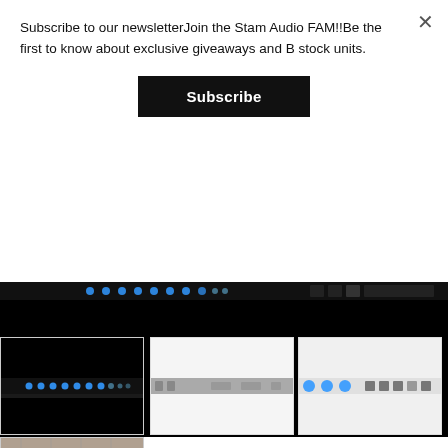Subscribe to our newsletterJoin the Stam Audio FAM!!Be the first to know about exclusive giveaways and B stock units.
Subscribe
[Figure (screenshot): Dark/black main video player area showing audio equipment interface with blue LED indicators along the top strip]
[Figure (screenshot): Thumbnail 1: dark black image with blue LED strip showing audio rack unit]
[Figure (screenshot): Thumbnail 2: white/light background with a single grey horizontal audio rack unit strip in the middle]
[Figure (screenshot): Thumbnail 3: white/light background with horizontal audio rack unit showing blue knobs and buttons]
[Figure (photo): Thumbnail 4 (bottom row): photo of circuit board internals of audio equipment]